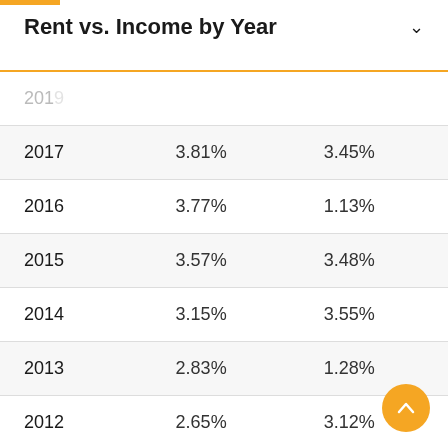Rent vs. Income by Year
| Year | Rent Growth | Income Growth |
| --- | --- | --- |
| 2017 | 3.81% | 3.45% |
| 2016 | 3.77% | 1.13% |
| 2015 | 3.57% | 3.48% |
| 2014 | 3.15% | 3.55% |
| 2013 | 2.83% | 1.28% |
| 2012 | 2.65% | 3.12% |
| 2011 | 1.71% | 3.13% |
| 2010 | 0.23% | 2.32% |